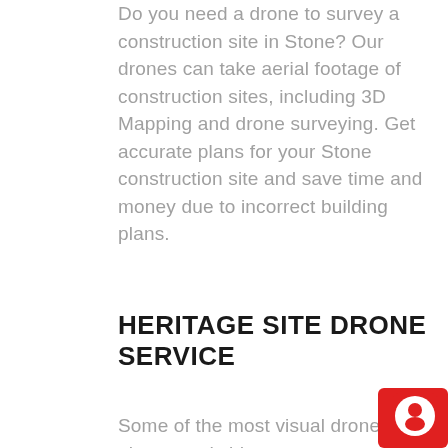Do you need a drone to survey a construction site in Stone? Our drones can take aerial footage of construction sites, including 3D Mapping and drone surveying. Get accurate plans for your Stone construction site and save time and money due to incorrect building plans.
HERITAGE SITE DRONE SERVICE
Some of the most visual drone photos and videos
[Figure (other): Red chat widget icon in the bottom-right corner with a white speech bubble/person icon]